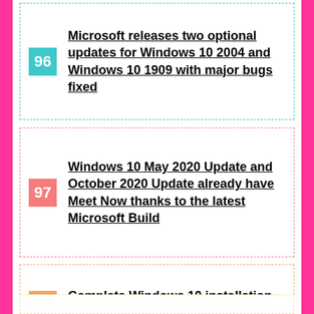96 Microsoft releases two optional updates for Windows 10 2004 and Windows 10 1909 with major bugs fixed
97 Windows 10 May 2020 Update and October 2020 Update already have Meet Now thanks to the latest Microsoft Build
98 Complete Windows 10 installation guide – article